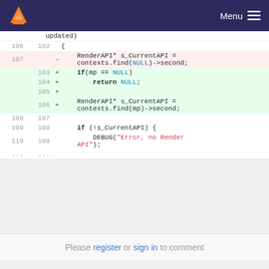[Figure (screenshot): VLC website navbar with orange cone logo and Menu button]
Code diff showing removal of RenderAPI* s_CurrentAPI = contexts.find(NULL)->second; and addition of if(mp == NULL) return NULL; and RenderAPI* s_CurrentAPI = contexts.find(mp)->second;
Please register or sign in to comment